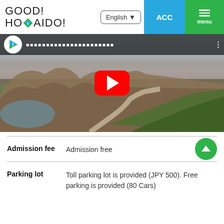[Figure (screenshot): GOOD! HOMAIDO! website header with logo, English language selector, ACC button in blue, and green menu button]
[Figure (screenshot): YouTube video embed showing an aerial landscape of Hokkaido mountains and a trail, with a red YouTube play button overlay and a dark top bar with channel icon and Japanese title text]
| Field | Value |
| --- | --- |
| Admission fee | Admission free |
| Parking lot | Toll parking lot is provided (JPY 500). Free parking is provided (80 Cars) |